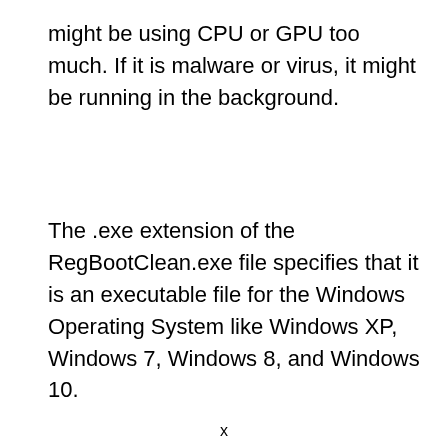might be using CPU or GPU too much. If it is malware or virus, it might be running in the background.
The .exe extension of the RegBootClean.exe file specifies that it is an executable file for the Windows Operating System like Windows XP, Windows 7, Windows 8, and Windows 10.
x